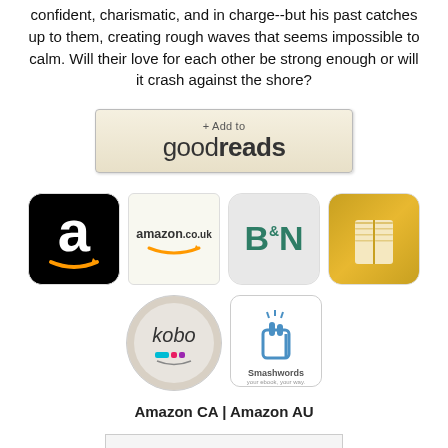confident, charismatic, and in charge--but his past catches up to them, creating rough waves that seems impossible to calm. Will their love for each other be strong enough or will it crash against the shore?
[Figure (logo): Goodreads '+ Add to goodreads' button]
[Figure (infographic): Row of retailer icons: Amazon US, Amazon UK, Barnes & Noble, iBooks]
[Figure (infographic): Row of retailer icons: Kobo, Smashwords]
Amazon CA | Amazon AU
[Figure (screenshot): Partial image at bottom of page showing a document/blog post preview]